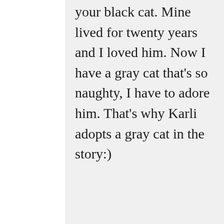your black cat. Mine lived for twenty years and I loved him. Now I have a gray cat that's so naughty, I have to adore him. That's why Karli adopts a gray cat in the story:)